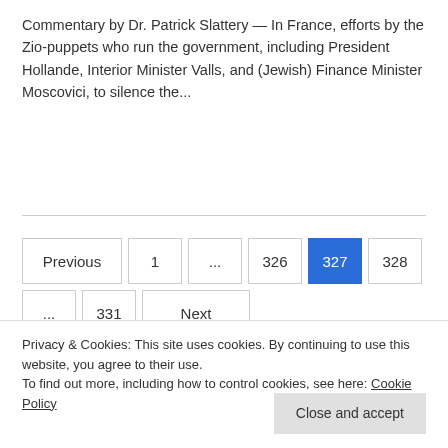Commentary by Dr. Patrick Slattery — In France, efforts by the Zio-puppets who run the government, including President Hollande, Interior Minister Valls, and (Jewish) Finance Minister Moscovici, to silence the...
Previous | 1 | ... | 326 | 327 | 328 | ... | 331 | Next
HELP DR. DUKE'S WORK
Privacy & Cookies: This site uses cookies. By continuing to use this website, you agree to their use.
To find out more, including how to control cookies, see here: Cookie Policy